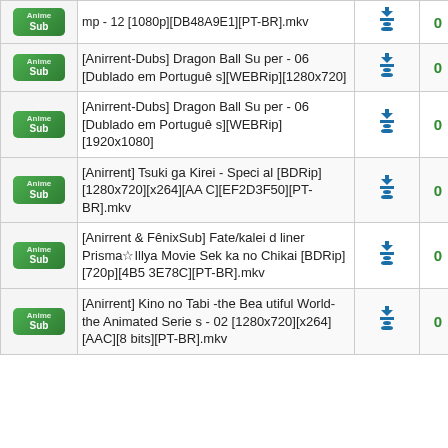| Icon | Name | DL | Seed | Leech |
| --- | --- | --- | --- | --- |
| AnimeSub badge | mp - 12 [1080p][DB48A9E1][PT-BR].mkv | ↓⊥ | 0 | 0 |
| AnimeSub badge | [Anirrent-Dubs] Dragon Ball Super - 06 [Dublado em Português][WEBRip][1280x720] | ↓⊥ | 0 | 0 |
| AnimeSub badge | [Anirrent-Dubs] Dragon Ball Super - 06 [Dublado em Português][WEBRip][1920x1080] | ↓⊥ | 0 | 0 |
| AnimeSub badge | [Anirrent] Tsuki ga Kirei - Special [BDRip][1280x720][x264][AAC][EF2D3F50][PT-BR].mkv | ↓⊥ | 0 | 0 |
| AnimeSub badge | [Anirrent & FênixSub] Fate/kaleid liner Prisma☆Illya Movie Sekka no Chikai [BDRip][720p][4B53E78C][PT-BR].mkv | ↓⊥ | 0 | 0 |
| AnimeSub badge | [Anirrent] Kino no Tabi -the Beautiful World- the Animated Series - 02 [1280x720][x264][AAC][8bits][PT-BR].mkv | ↓⊥ | 0 | 0 |